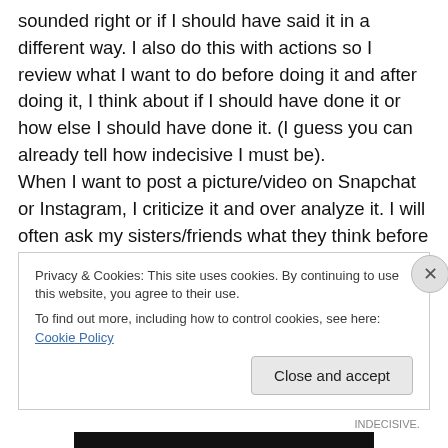sounded right or if I should have said it in a different way. I also do this with actions so I review what I want to do before doing it and after doing it, I think about if I should have done it or how else I should have done it. (I guess you can already tell how indecisive I must be). When I want to post a picture/video on Snapchat or Instagram, I criticize it and over analyze it. I will often ask my sisters/friends what they think before posting. (Don't even get me started on captions). When I eventually post, you will catch me staring at the post for a long time. I'm asking myself if it was really good enough to post or if I
Privacy & Cookies: This site uses cookies. By continuing to use this website, you agree to their use.
To find out more, including how to control cookies, see here: Cookie Policy